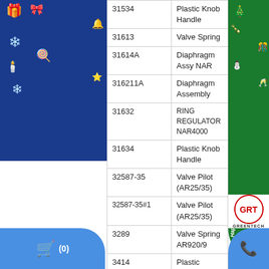[Figure (illustration): Christmas-themed blue banner on left side with Merry Christmas text, gifts, bells, candy canes decorations]
[Figure (illustration): Christmas/New Year green banner on right side with Happy New Year text, tree, snowman decorations]
| Part Number | Description |
| --- | --- |
| 31534 | Plastic Knob Handle |
| 31613 | Valve Spring |
| 31614A | Diaphragm Assy NAR |
| 316211A | Diaphragm Assembly |
| 31632 | RING REGULATOR NAR4000 |
| 31634 | Plastic Knob Handle |
| 32587-35 | Valve Pilot (AR25/35) |
| 32587-35#1 | Valve Pilot (AR25/35) |
| 3289 | Valve Spring AR920/9 |
| 3414 | Plastic adjustable kno |
| 49167 | Handle |
TECHNICAL SUPPORT
MR. NHÂN
0935 041313
SALE SUPPORT
[Figure (logo): GRT Greentech logo left side]
[Figure (logo): GRT Greentech logo right side]
sales@greentechvn.com
[Figure (illustration): Shopping cart icon with (0) count, blue rounded button bottom left]
[Figure (illustration): Phone icon, blue rounded button bottom right]